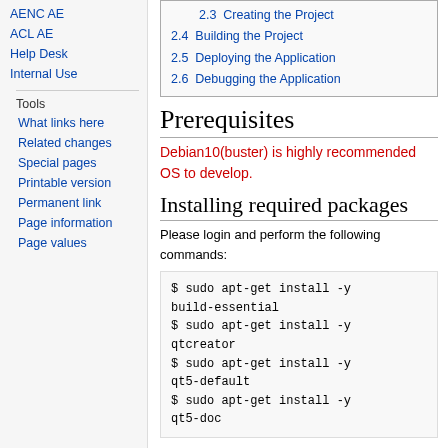AENC AE
ACL AE
Help Desk
Internal Use
Tools
What links here
Related changes
Special pages
Printable version
Permanent link
Page information
Page values
2.3 Creating the Project
2.4 Building the Project
2.5 Deploying the Application
2.6 Debugging the Application
Prerequisites
Debian10(buster) is highly recommended OS to develop.
Installing required packages
Please login and perform the following commands:
$ sudo apt-get install -y build-essential
$ sudo apt-get install -y qtcreator
$ sudo apt-get install -y qt5-default
$ sudo apt-get install -y qt5-doc